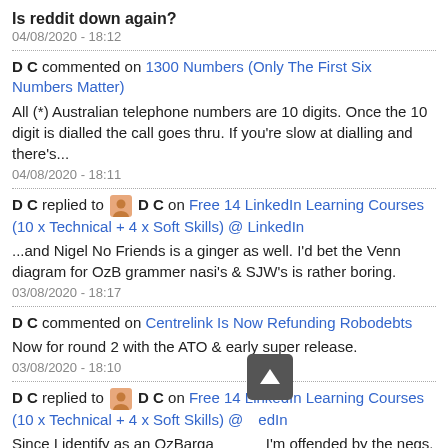Is reddit down again?
04/08/2020 - 18:12
D C commented on 1300 Numbers (Only The First Six Numbers Matter)
All (*) Australian telephone numbers are 10 digits. Once the 10 digit is dialled the call goes thru. If you're slow at dialling and there's...
04/08/2020 - 18:11
D C replied to D C on Free 14 LinkedIn Learning Courses (10 x Technical + 4 x Soft Skills) @ LinkedIn
...and Nigel No Friends is a ginger as well. I'd bet the Venn diagram for OzB grammer nasi's & SJW's is rather boring.
03/08/2020 - 18:17
D C commented on Centrelink Is Now Refunding Robodebts
Now for round 2 with the ATO & early super release.
03/08/2020 - 18:10
D C replied to D C on Free 14 LinkedIn Learning Courses (10 x Technical + 4 x Soft Skills) @ LinkedIn
Since I identify as an OzBarga... I'm offended by the negs. You